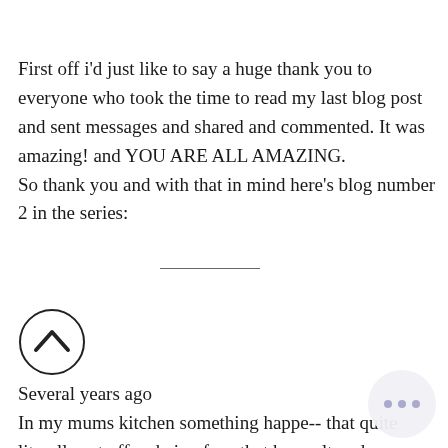First off i'd just like to say a huge thank you to everyone who took the time to read my last blog post and sent messages and shared and commented. It was amazing! and YOU ARE ALL AMAZING.
So thank you and with that in mind here's blog number 2 in the series:
[Figure (other): A circular icon with an upward-pointing chevron (caret up arrow) inside a circle, indicating scroll up or navigation upward]
Several years ago
In my mums kitchen something happe... that quite literally set off a chain of e... that have altered my life and my being (for
[Figure (other): A circular overlay button with three horizontal dots (ellipsis/more options) in a light gray circle, partially visible at bottom right]